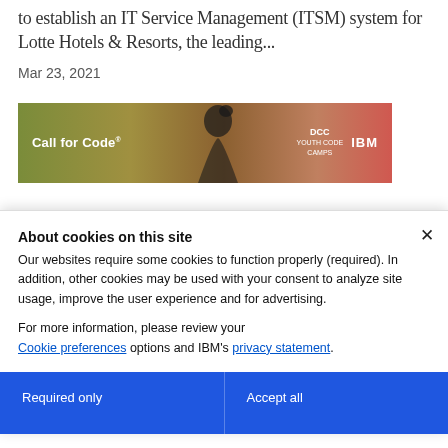to establish an IT Service Management (ITSM) system for Lotte Hotels & Resorts, the leading...
Mar 23, 2021
[Figure (photo): Banner image for 'Call for Code' with DCC and IBM logos on a nature/outdoor background]
About cookies on this site
Our websites require some cookies to function properly (required). In addition, other cookies may be used with your consent to analyze site usage, improve the user experience and for advertising.

For more information, please review your Cookie preferences options and IBM's privacy statement.
Required only
Accept all